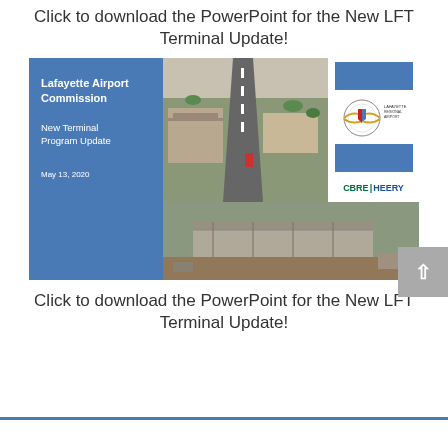Click to download the PowerPoint for the New LFT Terminal Update!
[Figure (screenshot): Screenshot of a PowerPoint presentation cover slide for Lafayette Airport Commission New Terminal Program Update, May 13, 2020, by CBRE|HEERY. Shows aerial rendering of airport terminal and construction photo.]
Click to download the PowerPoint for the New LFT Terminal Update!